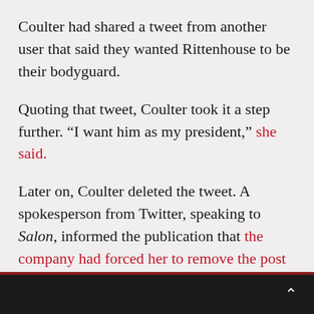Coulter had shared a tweet from another user that said they wanted Rittenhouse to be their bodyguard.
Quoting that tweet, Coulter took it a step further. “I want him as my president,” she said.
Later on, Coulter deleted the tweet. A spokesperson from Twitter, speaking to Salon, informed the publication that the company had forced her to remove the post as it had violated rules for the social media platform.
⌃